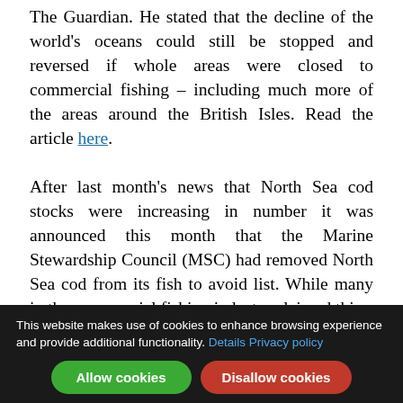The Guardian. He stated that the decline of the world's oceans could still be stopped and reversed if whole areas were closed to commercial fishing – including much more of the areas around the British Isles. Read the article here.
After last month's news that North Sea cod stocks were increasing in number it was announced this month that the Marine Stewardship Council (MSC) had removed North Sea cod from its fish to avoid list. While many in the commercial fishing industry claimed this
This website makes use of cookies to enhance browsing experience and provide additional functionality. Details Privacy policy